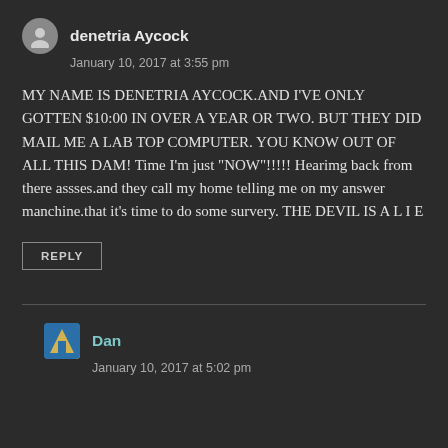denetria Aycock
January 10, 2017 at 3:55 pm
MY NAME IS DENETRIA AYCOCK.AND I'VE ONLY GOTTEN $10:00 IN OVER A YEAR OR TWO. BUT THEY DID MAIL ME A LAB TOP COMPUTER. YOU KNOW OUT OF ALL THIS DAM! Time I'm just "NOW"!!!!! Hearimg back from there assses.and they call my home telling me on my answer manchine.that it's time to do some survery. THE DEVIL IS A L I E
REPLY
Dan
January 10, 2017 at 5:02 pm